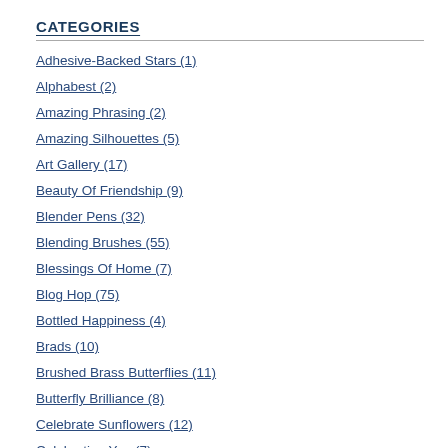CATEGORIES
Adhesive-Backed Stars (1)
Alphabest (2)
Amazing Phrasing (2)
Amazing Silhouettes (5)
Art Gallery (17)
Beauty Of Friendship (9)
Blender Pens (32)
Blending Brushes (55)
Blessings Of Home (7)
Blog Hop (75)
Bottled Happiness (4)
Brads (10)
Brushed Brass Butterflies (11)
Butterfly Brilliance (8)
Celebrate Sunflowers (12)
Celebrating You (7)
[Figure (photo): Sailboat-themed stamp card with teal circular stamp logo and navy blue geometric background pattern]
Stamp Set plus Sahara Sand Ca... Night of Navy Classic Stampin' P... Sail Away Memories & More Car... Sand Baker's Twine, Clear Facet... Glue Pen or Mutipurpose Liquid G... SNAIL Adhesive, Stampin' Dimen... 1/4" Circle Punch, Take Your Pi... Trimmer, Big Shot Die-Cutting ... Standard Cutting Pads, and Se...